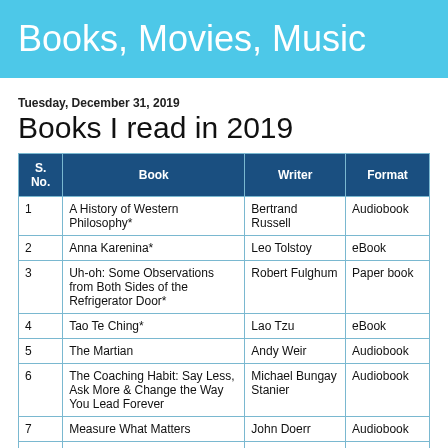Books, Movies, Music
Tuesday, December 31, 2019
Books I read in 2019
| S. No. | Book | Writer | Format |
| --- | --- | --- | --- |
| 1 | A History of Western Philosophy* | Bertrand Russell | Audiobook |
| 2 | Anna Karenina* | Leo Tolstoy | eBook |
| 3 | Uh-oh: Some Observations from Both Sides of the Refrigerator Door* | Robert Fulghum | Paper book |
| 4 | Tao Te Ching* | Lao Tzu | eBook |
| 5 | The Martian | Andy Weir | Audiobook |
| 6 | The Coaching Habit: Say Less, Ask More & Change the Way You Lead Forever | Michael Bungay Stanier | Audiobook |
| 7 | Measure What Matters | John Doerr | Audiobook |
| 8 | Sapiens: A Brief History of Humankind | Yuval Noah Harari | Audiobook |